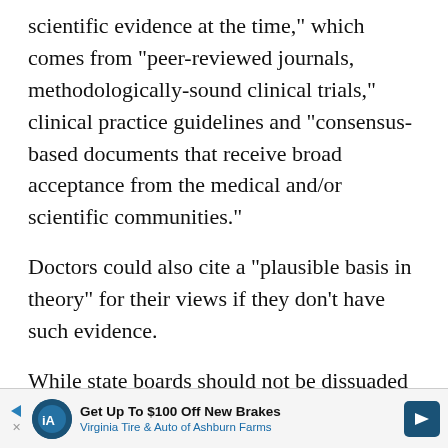scientific evidence at the time," which comes from "peer-reviewed journals, methodologically-sound clinical trials," clinical practice guidelines and "consensus-based documents that receive broad acceptance from the medical and/or scientific communities."
Doctors could also cite a "plausible basis in theory" for their views if they don't have such evidence.
While state boards should not be dissuaded by ... First Amendment challenges b... sanction, the FSMB report en... reeducation through "conversa...
[Figure (screenshot): Video player overlay showing a man in a dark suit sitting in front of a bookshelf, with a '9 seconds...' timer label, video controls (pause, rewind, settings, fullscreen), a 'Just the News' brand logo, and a close button.]
[Figure (screenshot): Advertisement banner: 'Get Up To $100 Off New Brakes' from Virginia Tire & Auto of Ashburn Farms, with play, close, and navigation icons.]